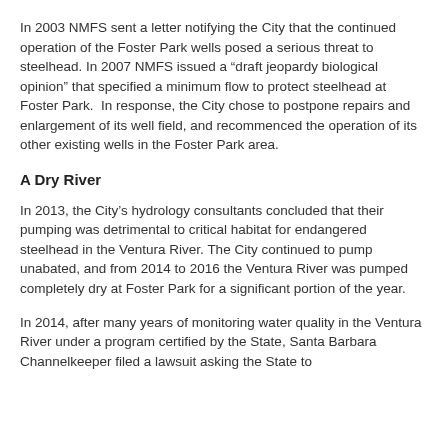In 2003 NMFS sent a letter notifying the City that the continued operation of the Foster Park wells posed a serious threat to steelhead. In 2007 NMFS issued a “draft jeopardy biological opinion” that specified a minimum flow to protect steelhead at Foster Park.  In response, the City chose to postpone repairs and enlargement of its well field, and recommenced the operation of its other existing wells in the Foster Park area.
A Dry River
In 2013, the City’s hydrology consultants concluded that their pumping was detrimental to critical habitat for endangered steelhead in the Ventura River. The City continued to pump unabated, and from 2014 to 2016 the Ventura River was pumped completely dry at Foster Park for a significant portion of the year.
In 2014, after many years of monitoring water quality in the Ventura River under a program certified by the State, Santa Barbara Channelkeeper filed a lawsuit asking the State to